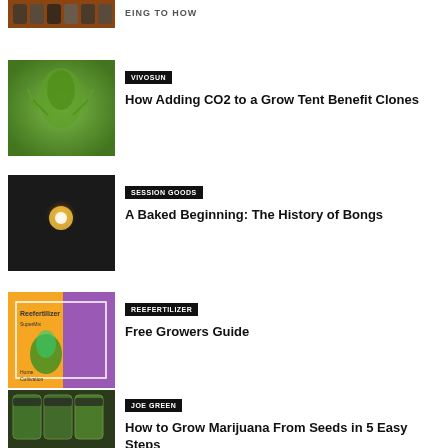[Figure (photo): Partial view of jars/bottles at top of page]
[Figure (photo): Close-up of cannabis plant bud]
VIVOSUN
How Adding CO2 to a Grow Tent Benefit Clones
[Figure (photo): Dark image with a glowing light source]
SESSION GOODS
A Baked Beginning: The History of Bongs
[Figure (photo): Reefertilizer product packaging in orange and purple]
REEFERTILIZER
Free Growers Guide
[Figure (photo): Glass jars filled with cannabis]
JOE GREEN
How to Grow Marijuana From Seeds in 5 Easy Steps